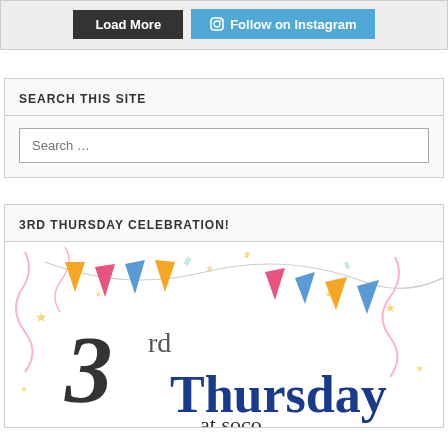[Figure (screenshot): Top bar with 'Load More' dark button and 'Follow on Instagram' blue button with Instagram icon]
SEARCH THIS SITE
Search …
3RD THURSDAY CELEBRATION!
[Figure (illustration): Celebration banner image showing '3rd Thursday at SoCo' with colorful bunting flags (pink, blue, orange) and confetti streamers on white background]